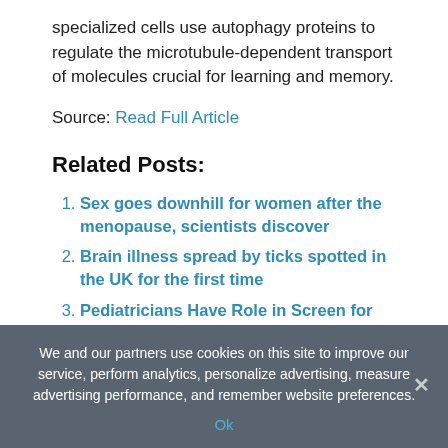specialized cells use autophagy proteins to regulate the microtubule-dependent transport of molecules crucial for learning and memory.
Source: Read Full Article
Related Posts:
Sex goes downhill for women after the menopause, scientists discover
Brain illness spread by ticks spotted in the UK for the first time
Pediatricians Have Role in Screen for Postpartum
We and our partners use cookies on this site to improve our service, perform analytics, personalize advertising, measure advertising performance, and remember website preferences.
Ok